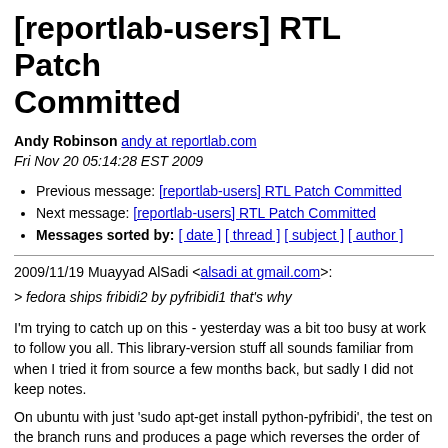[reportlab-users] RTL Patch Committed
Andy Robinson andy at reportlab.com
Fri Nov 20 05:14:28 EST 2009
Previous message: [reportlab-users] RTL Patch Committed
Next message: [reportlab-users] RTL Patch Committed
Messages sorted by: [ date ] [ thread ] [ subject ] [ author ]
2009/11/19 Muayyad AlSadi <alsadi at gmail.com>:
> fedora ships fribidi2 by pyfribidi1 that's why
I'm trying to catch up on this - yesterday was a bit too busy at work to follow you all. This library-version stuff all sounds familiar from when I tried it from source a few months back, but sadly I did not keep notes.
On ubuntu with just 'sudo apt-get install python-pyfribidi', the test on the branch runs and produces a page which reverses the order of